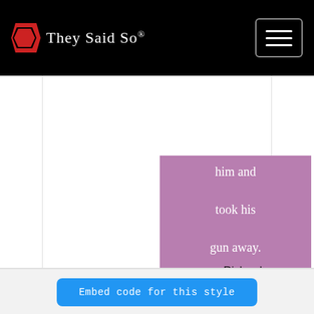They Said So®
[Figure (screenshot): Purple quote card showing partial quote text 'him and took his gun away.' attributed to — Richard Stark, with a dropdown arrow below]
Embed code for this style